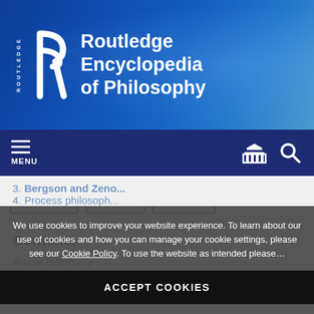[Figure (logo): Routledge Encyclopedia of Philosophy header banner with blue gradient background, Routledge 'R' logo icon, and white text reading 'Routledge Encyclopedia of Philosophy']
MENU
Share   Cite   Print
Contents
Article Summary
We use cookies to improve your website experience. To learn about our use of cookies and how you can manage your cookie settings, please see our Cookie Policy. To use the website as intended please…
ACCEPT COOKIES